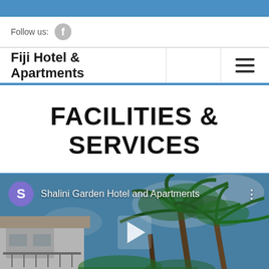Follow us:
Fiji Hotel & Apartments
FACILITIES & SERVICES
[Figure (screenshot): Video thumbnail showing Shalini Garden Hotel and Apartments with palm trees and a building, with a play button overlay and a purple 'S' channel avatar]